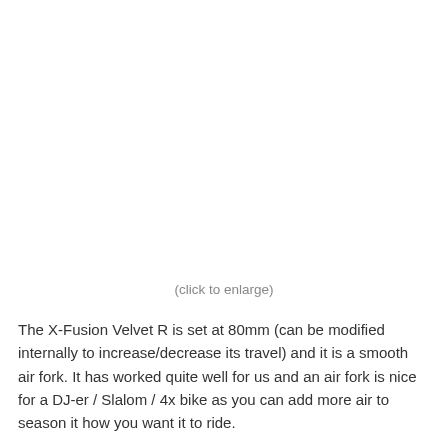(click to enlarge)
The X-Fusion Velvet R is set at 80mm (can be modified internally to increase/decrease its travel) and it is a smooth air fork. It has worked quite well for us and an air fork is nice for a DJ-er / Slalom / 4x bike as you can add more air to season it how you want it to ride.